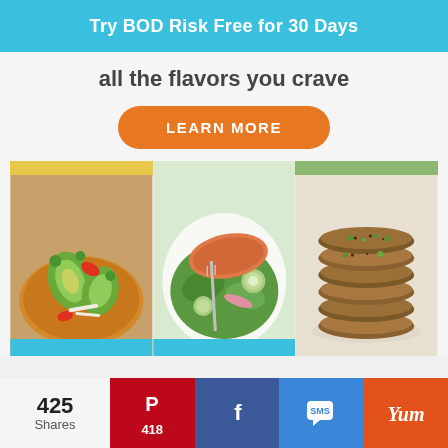Try BOD Risk Free for 30 Days
all the flavors you crave
LEARN MORE
[Figure (photo): Three food photos side by side: avocado tostada with vegetables, salmon salad with arugula and cucumber, and stacked veggie/grain patties]
425 Shares
418 (Pinterest shares)